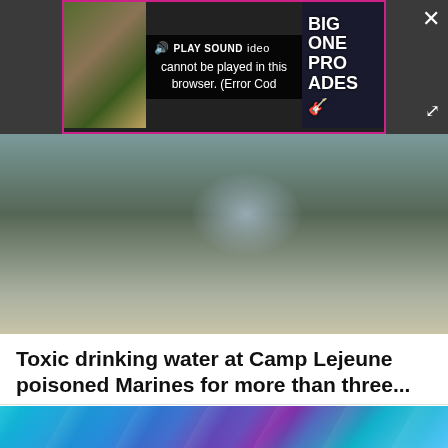[Figure (screenshot): Video player overlay on dark background showing error message: 'Video cannot be played in this browser. (Error Cod' with PLAY SOUND button, close X button, and expand button. Partially visible images on left (person in nature) and right (BIG ONE PRO RADES text on dark background).]
[Figure (photo): Photo of a Marine in camouflage uniform washing hands or drinking water from an outdoor faucet, with military vehicles visible in background.]
Toxic drinking water at Camp Lejeune poisoned Marines for more than three...
Agency Y | Sponsored
[Figure (photo): Partial photo showing blue crystalline or abstract background, partially visible at bottom of page.]